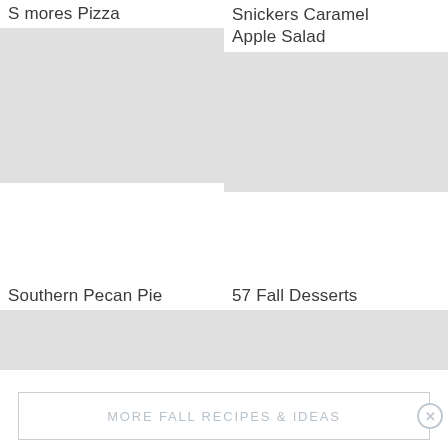S mores Pizza
Snickers Caramel Apple Salad
[Figure (photo): Image placeholder for S mores Pizza]
[Figure (photo): Image placeholder for Snickers Caramel Apple Salad]
Southern Pecan Pie
57 Fall Desserts
[Figure (photo): Image placeholder for Southern Pecan Pie]
[Figure (photo): Image placeholder for 57 Fall Desserts]
MORE FALL RECIPES & IDEAS